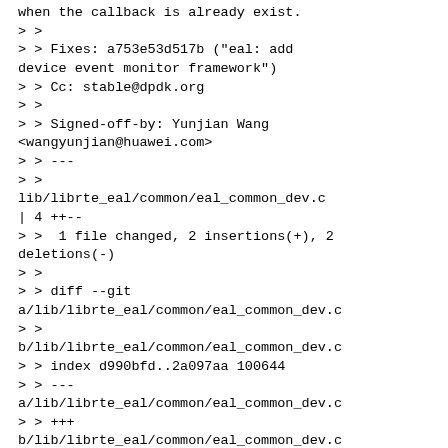when the callback is already exist.
> >
> > Fixes: a753e53d517b ("eal: add device event monitor framework")
> > Cc: stable@dpdk.org
> >
> > Signed-off-by: Yunjian Wang <wangyunjian@huawei.com>
> > ---
> >
lib/librte_eal/common/eal_common_dev.c | 4 ++--
> >  1 file changed, 2 insertions(+), 2 deletions(-)
> >
> > diff --git a/lib/librte_eal/common/eal_common_dev.c
> >
b/lib/librte_eal/common/eal_common_dev.c
> > index d990bfd..2a097aa 100644
> > ---
a/lib/librte_eal/common/eal_common_dev.c
> > +++
b/lib/librte_eal/common/eal_common_dev.c
> > @@ -431,7 +431,7 @@ static int cmp_dev_name(const struct rte_device
> *dev, const void *_name)
> >
void *cb_arg)  {
> >      struct dev_event_callback